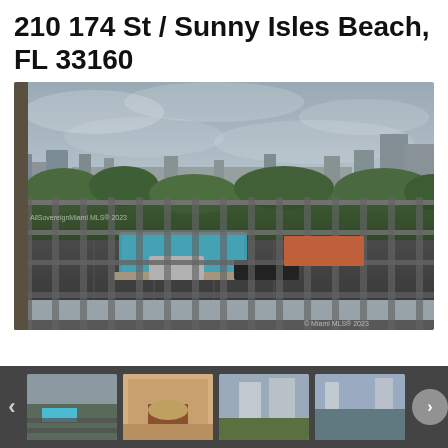210 174 St / Sunny Isles Beach, FL 33160
[Figure (photo): Balcony view from a high-rise showing a swimming pool, parking area, trees, city skyline with buildings, and overcast sky in Sunny Isles Beach, FL. Metal railing visible in foreground.]
[Figure (photo): Thumbnail strip showing four smaller property photos at the bottom, with left and right navigation arrows and a scroll-up button.]